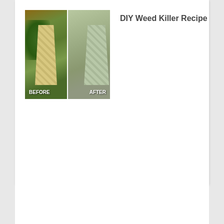[Figure (photo): Before and after comparison of a paver pathway. Left side shows the path overgrown with green weeds between brick pavers. Right side shows the same path clean and weed-free. Labels 'BEFORE' and 'AFTER' appear at the bottom of each half.]
DIY Weed Killer Recipe